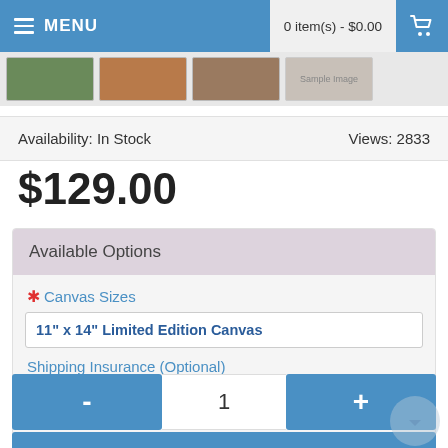MENU | 0 item(s) - $0.00
[Figure (screenshot): Thumbnail image strip showing four product images]
Availability: In Stock    Views: 2833
$129.00
Available Options
* Canvas Sizes
11" x 14" Limited Edition Canvas
Shipping Insurance (Optional)
Shipping Insurance (+$2.50)
- 1 +
ADD TO CART